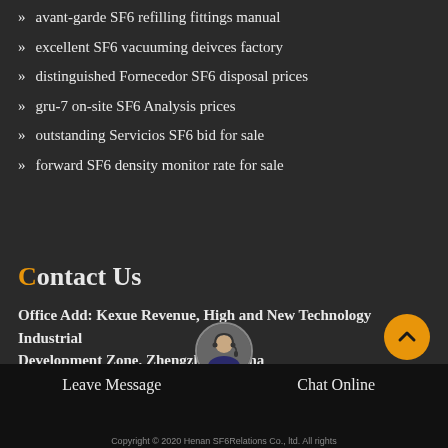avant-garde SF6 refilling fittings manual
excellent SF6 vacuuming deivces factory
distinguished Fornecedor SF6 disposal prices
gru-7 on-site SF6 Analysis prices
outstanding Servicios SF6 bid for sale
forward SF6 density monitor rate for sale
Contact Us
Office Add: Kexue Revenue, High and New Technology Industrial Development Zone, Zhengzhou, China
Leave Message   Chat Online   Copyright © 2020 Henan SF6Relations Co., ltd. All rights